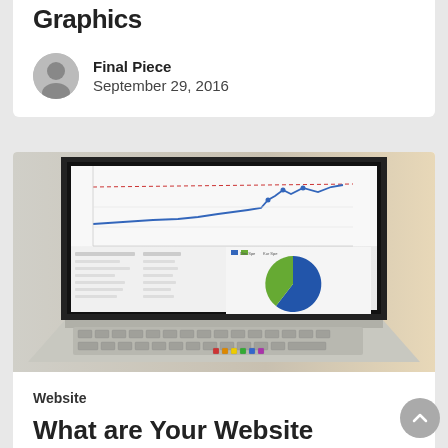Graphics
Final Piece
September 29, 2016
[Figure (photo): A laptop computer displaying an analytics dashboard with a line chart and a pie chart showing blue and green segments, photographed from an angle against a warm blurred background.]
Website
What are Your Website Goals?